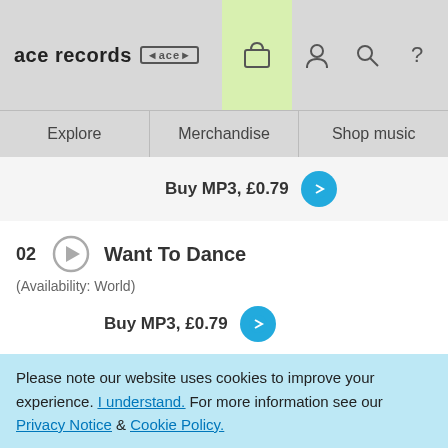ace records [ace logo] [cart] [user] [search] [?]
Explore | Merchandise | Shop music
Buy MP3, £0.79
02  Want To Dance
(Availability: World)
Buy MP3, £0.79
03  Keep Your Fingers Out The Jam
(Availability: World)
Buy MP3, £0.79
Please note our website uses cookies to improve your experience. I understand. For more information see our Privacy Notice & Cookie Policy.